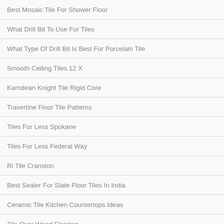Best Mosaic Tile For Shower Floor
What Drill Bit To Use For Tiles
What Type Of Drill Bit Is Best For Porcelain Tile
Smooth Ceiling Tiles 12 X
Karndean Knight Tile Rigid Core
Travertine Floor Tile Patterns
Tiles For Less Spokane
Tiles For Less Federal Way
Ri Tile Cranston
Best Sealer For Slate Floor Tiles In India
Ceramic Tile Kitchen Countertops Ideas
Tile Over Wood Flooring
Tile Over Wooden Floor